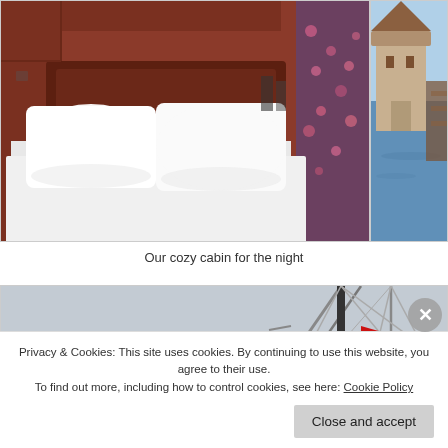[Figure (photo): Hotel bedroom with red/brown wooden walls, white pillows and bedding, and floral curtains]
[Figure (photo): Partial view of exterior scene with water and structures, cropped on right side]
Our cozy cabin for the night
[Figure (photo): Boat mast and rigging against grey sky, with a red flag, karst limestone mountains in background (Ha Long Bay)]
Privacy & Cookies: This site uses cookies. By continuing to use this website, you agree to their use.
To find out more, including how to control cookies, see here: Cookie Policy